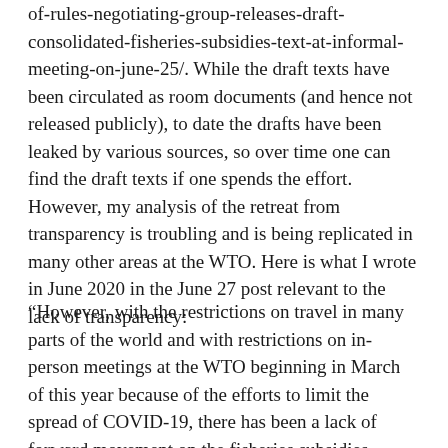of-rules-negotiating-group-releases-draft-consolidated-fisheries-subsidies-text-at-informal-meeting-on-june-25/. While the draft texts have been circulated as room documents (and hence not released publicly), to date the drafts have been leaked by various sources, so over time one can find the draft texts if one spends the effort. However, my analysis of the retreat from transparency is troubling and is being replicated in many other areas at the WTO. Here is what I wrote in June 2020 in the June 27 post relevant to the lack of transparency:
“However, with the restrictions on travel in many parts of the world and with restrictions on in-person meetings at the WTO beginning in March of this year because of the efforts to limit the spread of COVID-19, there has been a lack of forward movement on the fisheries subsidies negotiations. Specifically, the 12th WTO Ministerial was postponed from June 2020 to an